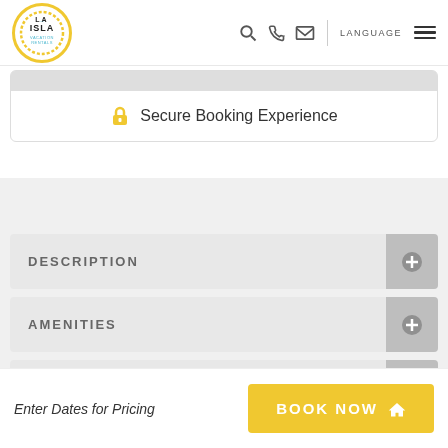LA ISLA Vacation Rentals — LANGUAGE navigation header
[Figure (logo): La Isla Vacation Rentals circular logo with yellow rope border and teal wave graphic]
Secure Booking Experience
DESCRIPTION
AMENITIES
AVAILABILITY
Enter Dates for Pricing
BOOK NOW